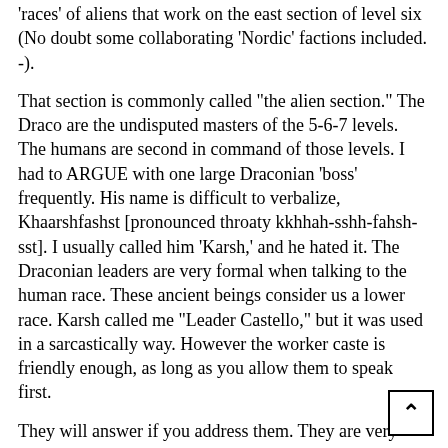'races' of aliens that work on the east section of level six (No doubt some collaborating 'Nordic' factions included. -).
That section is commonly called "the alien section." The Draco are the undisputed masters of the 5-6-7 levels. The humans are second in command of those levels. I had to ARGUE with one large Draconian 'boss' frequently. His name is difficult to verbalize, Khaarshfashst [pronounced throaty kkhhah-sshh-fahsh-sst]. I usually called him 'Karsh,' and he hated it. The Draconian leaders are very formal when talking to the human race. These ancient beings consider us a lower race. Karsh called me "Leader Castello," but it was used in a sarcastically way. However the worker caste is friendly enough, as long as you allow them to speak first.
They will answer if you address them. They are very cautious beings, and consider most humans to be hostile. They always seem surprised when they found many of the humans were open and trustworthy. There is no fraterni with the aliens off hours. It is forbidden to speak to any [text continues below]